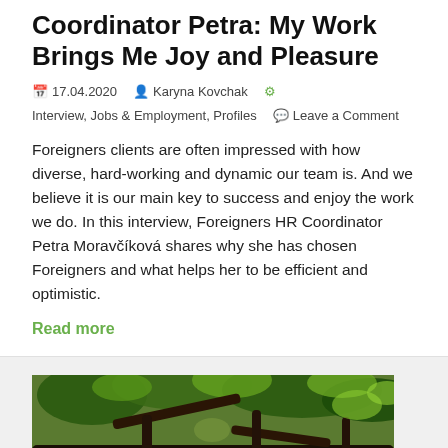Coordinator Petra: My Work Brings Me Joy and Pleasure
17.04.2020   Karyna Kovchak   Interview, Jobs & Employment, Profiles   Leave a Comment
Foreigners clients are often impressed with how diverse, hard-working and dynamic our team is. And we believe it is our main key to success and enjoy the work we do. In this interview, Foreigners HR Coordinator Petra Moravčíková shares why she has chosen Foreigners and what helps her to be efficient and optimistic.
Read more
[Figure (photo): A photograph showing tree branches with green foliage, taken outdoors in natural light.]